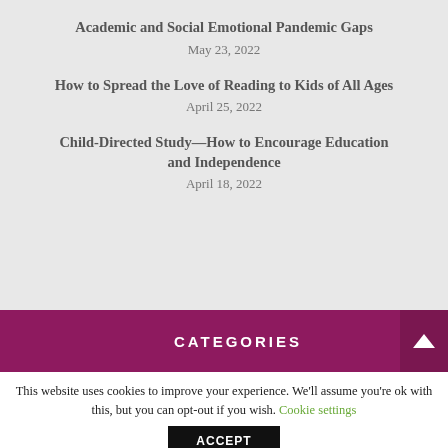Academic and Social Emotional Pandemic Gaps
May 23, 2022
How to Spread the Love of Reading to Kids of All Ages
April 25, 2022
Child-Directed Study—How to Encourage Education and Independence
April 18, 2022
CATEGORIES
This website uses cookies to improve your experience. We'll assume you're ok with this, but you can opt-out if you wish. Cookie settings
ACCEPT